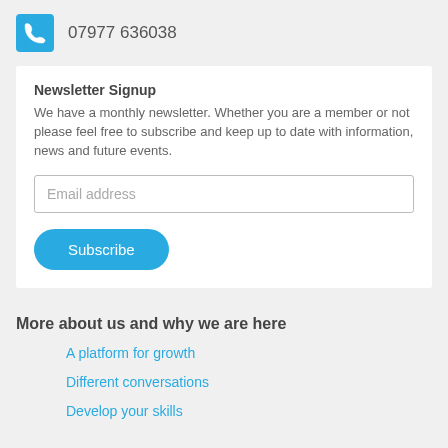07977 636038
Newsletter Signup
We have a monthly newsletter. Whether you are a member or not please feel free to subscribe and keep up to date with information, news and future events.
Email address
Subscribe
More about us and why we are here
A platform for growth
Different conversations
Develop your skills